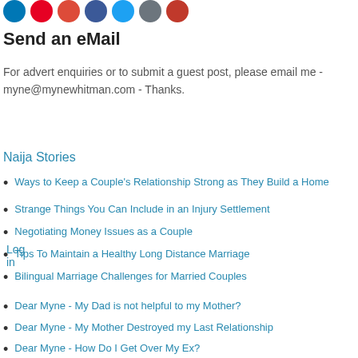[Figure (other): Row of social media icon circles (LinkedIn, Pinterest, Google+, Facebook, Twitter, Email, Print)]
Send an eMail
For advert enquiries or to submit a guest post, please email me - myne@mynewhitman.com - Thanks.
Log in
Naija Stories
Ways to Keep a Couple's Relationship Strong as They Build a Home
Strange Things You Can Include in an Injury Settlement
Negotiating Money Issues as a Couple
Tips To Maintain a Healthy Long Distance Marriage
Bilingual Marriage Challenges for Married Couples
Dear Myne - My Dad is not helpful to my Mother?
Dear Myne - My Mother Destroyed my Last Relationship
Dear Myne - How Do I Get Over My Ex?